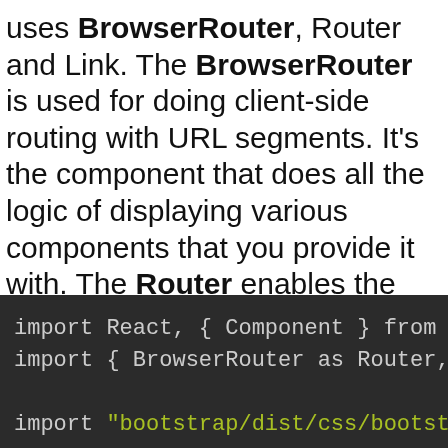uses BrowserRouter, Router and Link. The BrowserRouter is used for doing client-side routing with URL segments. It's the component that does all the logic of displaying various components that you provide it with. The Router enables the navigation among views of various components and the Link is used to add clickable links to be mapped to the Router.
[Figure (screenshot): Code editor screenshot showing import statements: import React, { Component } from "react" and import { BrowserRouter as Router, Route, L... and import "bootstrap/dist/css/bootstrap.min.c...]